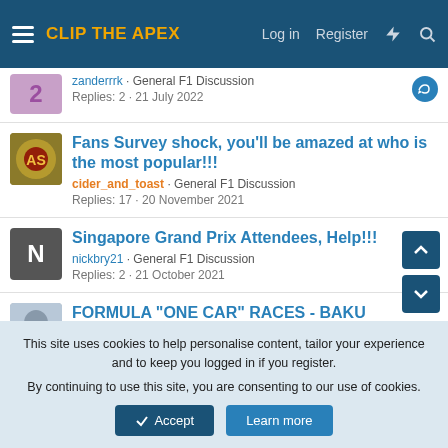CLIP THE APEX — Log in  Register
zanderrrk · General F1 Discussion
Replies: 2 · 21 July 2022
Fans Survey shock, you'll be amazed at who is the most popular!!!
cider_and_toast · General F1 Discussion
Replies: 17 · 20 November 2021
Singapore Grand Prix Attendees, Help!!!
nickbry21 · General F1 Discussion
Replies: 2 · 21 October 2021
FORMULA "ONE CAR" RACES - BAKU
Peter N. Carbone · General F1 Discussion
Replies: 0 · 12 June 2022
This site uses cookies to help personalise content, tailor your experience and to keep you logged in if you register.
By continuing to use this site, you are consenting to our use of cookies.